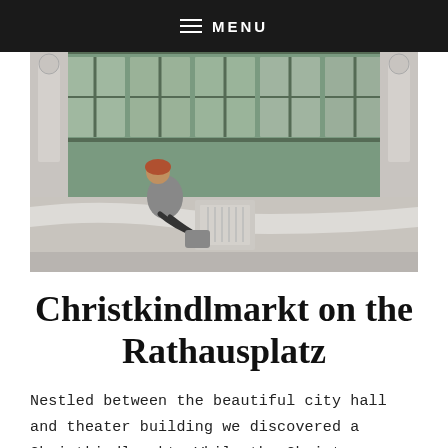≡ MENU
[Figure (photo): A person with reddish hair sits on stone steps in front of large green-framed windows of a classical building, with stone balustrades and columns on either side.]
Christkindlmarkt on the Rathausplatz
Nestled between the beautiful city hall and theater building we discovered a Christkindlmarkt. While the Christmas markets in Germany generally close just